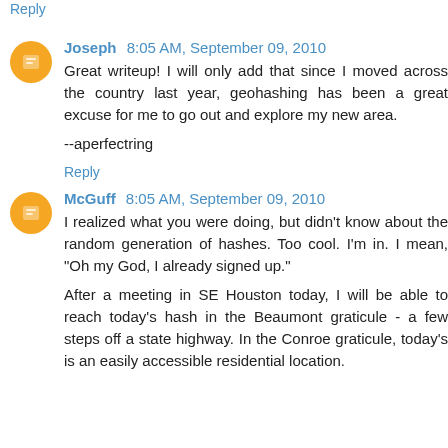Reply
Joseph 8:05 AM, September 09, 2010
Great writeup! I will only add that since I moved across the country last year, geohashing has been a great excuse for me to go out and explore my new area.

--aperfectring
Reply
McGuff 8:05 AM, September 09, 2010
I realized what you were doing, but didn't know about the random generation of hashes. Too cool. I'm in. I mean, "Oh my God, I already signed up."

After a meeting in SE Houston today, I will be able to reach today's hash in the Beaumont graticule - a few steps off a state highway. In the Conroe graticule, today's is an easily accessible residential location.